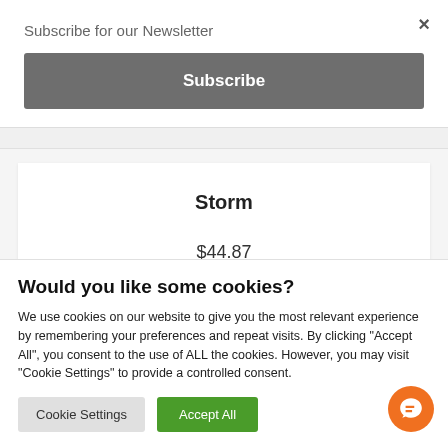Subscribe for our Newsletter
×
Subscribe
Storm
$44.87
Would you like some cookies?
We use cookies on our website to give you the most relevant experience by remembering your preferences and repeat visits. By clicking "Accept All", you consent to the use of ALL the cookies. However, you may visit "Cookie Settings" to provide a controlled consent.
Cookie Settings
Accept All